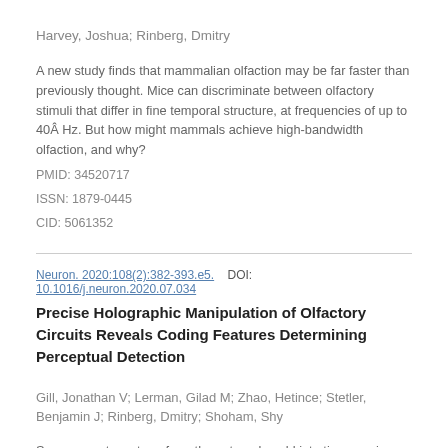Harvey, Joshua; Rinberg, Dmitry
A new study finds that mammalian olfaction may be far faster than previously thought. Mice can discriminate between olfactory stimuli that differ in fine temporal structure, at frequencies of up to 40Â Hz. But how might mammals achieve high-bandwidth olfaction, and why?
PMID: 34520717
ISSN: 1879-0445
CID: 5061352
Neuron. 2020:108(2):382-393.e5.    DOI: 10.1016/j.neuron.2020.07.034
Precise Holographic Manipulation of Olfactory Circuits Reveals Coding Features Determining Perceptual Detection
Gill, Jonathan V; Lerman, Gilad M; Zhao, Hetince; Stetler, Benjamin J; Rinberg, Dmitry; Shoham, Shy
Sensory systems transform the external world into time-varying